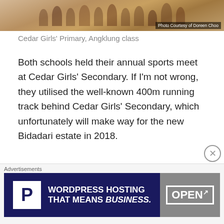[Figure (photo): Group photo of students, Cedar Girls' Primary Angklung class, with photo credit to Doreen Choo]
Cedar Girls' Primary, Angklung class
Both schools held their annual sports meet at Cedar Girls' Secondary. If I'm not wrong, they utilised the well-known 400m running track behind Cedar Girls' Secondary, which unfortunately will make way for the new Bidadari estate in 2018.
Source: [1] [2] [3]
Rangoon Road Secondary School (Farrer Park)
Merged into Balestier Hill Secondary School in 2001
[Figure (screenshot): WordPress Hosting advertisement banner reading 'WORDPRESS HOSTING THAT MEANS BUSINESS.' with P logo and OPEN sign image]